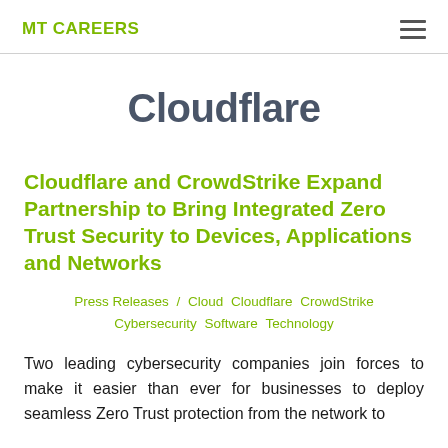MT CAREERS
Cloudflare
Cloudflare and CrowdStrike Expand Partnership to Bring Integrated Zero Trust Security to Devices, Applications and Networks
Press Releases / Cloud Cloudflare CrowdStrike Cybersecurity Software Technology
Two leading cybersecurity companies join forces to make it easier than ever for businesses to deploy seamless Zero Trust protection from the network to